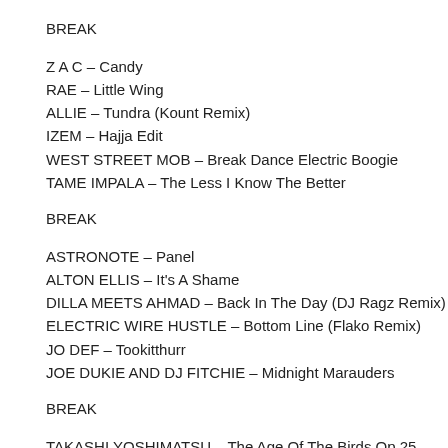BREAK
Z A C – Candy
RAE – Little Wing
ALLIE – Tundra (Kount Remix)
IZEM – Hajja Edit
WEST STREET MOB – Break Dance Electric Boogie
TAME IMPALA – The Less I Know The Better
BREAK
ASTRONOTE – Panel
ALTON ELLIS – It's A Shame
DILLA MEETS AHMAD – Back In The Day (DJ Ragz Remix)
ELECTRIC WIRE HUSTLE – Bottom Line (Flako Remix)
JO DEF – Tookitthurr
JOE DUKIE AND DJ FITCHIE – Midnight Marauders
BREAK
TAKASHI YOSHIMATSU – The Age Of The Birds Op 25